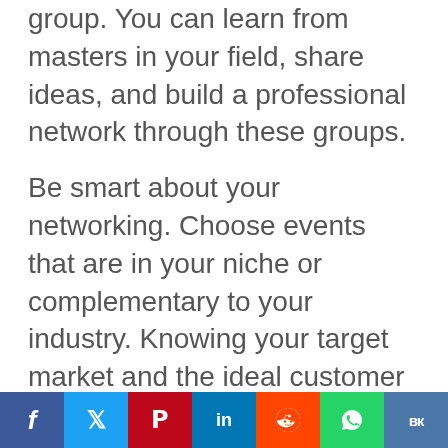group. You can learn from masters in your field, share ideas, and build a professional network through these groups.
Be smart about your networking. Choose events that are in your niche or complementary to your industry. Knowing your target market and the ideal customer will help you find the best networking events. Without a clear understanding of your audience, you'll
Social share bar: Facebook, Twitter, Pinterest, LinkedIn, Reddit, WhatsApp, VK